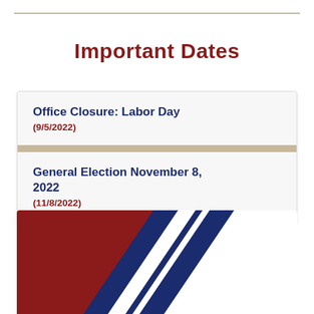Important Dates
Office Closure: Labor Day (9/5/2022)
General Election November 8, 2022 (11/8/2022)
[Figure (illustration): Patriotic graphic with red, white, and navy blue diagonal swoosh design]